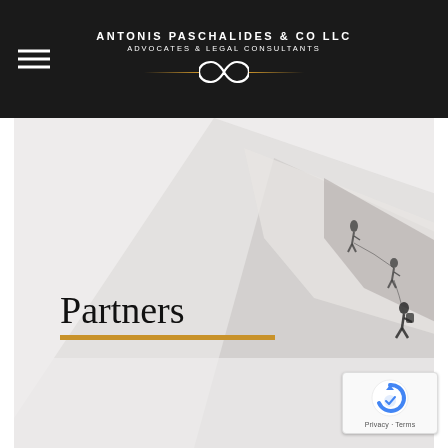ANTONIS PASCHALIDES & CO LLC — ADVOCATES & LEGAL CONSULTANTS
[Figure (illustration): Grayscale mountain climbers ascending a snowy peak, used as hero background image]
Partners
[Figure (logo): Google reCAPTCHA badge with Privacy and Terms links]